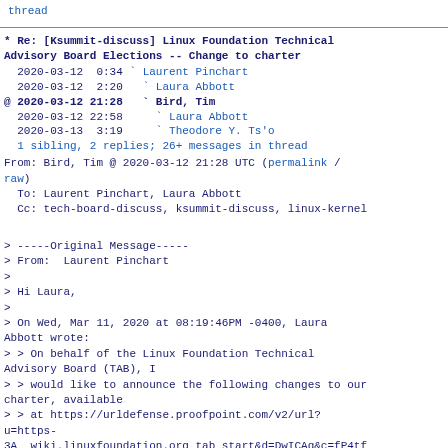thread
* Re: [Ksummit-discuss] Linux Foundation Technical Advisory Board Elections -- Change to charter
2020-03-12  0:34  ` Laurent Pinchart
2020-03-12  2:20    ` Laura Abbott
@ 2020-03-12 21:28    ` Bird, Tim
  2020-03-12 22:58      ` Laura Abbott
  2020-03-13  3:19      ` Theodore Y. Ts'o
1 sibling, 2 replies; 26+ messages in thread
From: Bird, Tim @ 2020-03-12 21:28 UTC (permalink / raw)
  To: Laurent Pinchart, Laura Abbott
  Cc: tech-board-discuss, ksummit-discuss, linux-kernel
> -----Original Message-----
> From:  Laurent Pinchart
>
> Hi Laura,
>
> On Wed, Mar 11, 2020 at 08:19:46PM -0400, Laura Abbott wrote:
> > On behalf of the Linux Foundation Technical Advisory Board (TAB), I
> > would like to announce the following changes to our charter, available
> > at https://urldefense.proofpoint.com/v2/url?u=https-
> 3A  wiki.linuxfoundation.org tab start&d=DwICAg&c=fP4tf